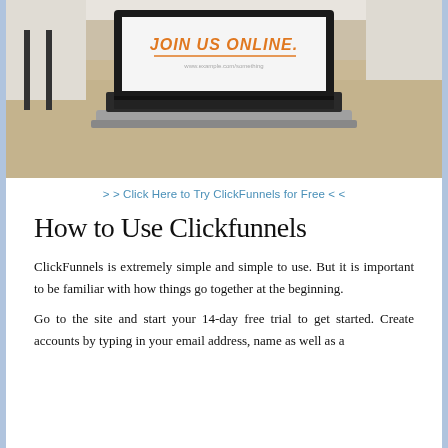[Figure (photo): A laptop computer sitting on a wooden table with the screen displaying the text 'JOIN US ONLINE.' in orange uppercase letters on a white background. The photo has a light, minimalist feel with white chairs visible in the background.]
> > Click Here to Try ClickFunnels for Free < <
How to Use Clickfunnels
ClickFunnels is extremely simple and simple to use. But it is important to be familiar with how things go together at the beginning.
Go to the site and start your 14-day free trial to get started. Create accounts by typing in your email address, name as well as a